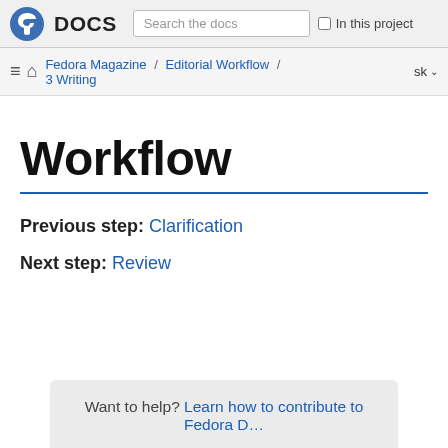Fedora DOCS | Search the docs | In this project
Fedora Magazine / Editorial Workflow / 3 Writing | sk
Workflow
Previous step: Clarification
Next step: Review
Want to help? Learn how to contribute to Fedora D...